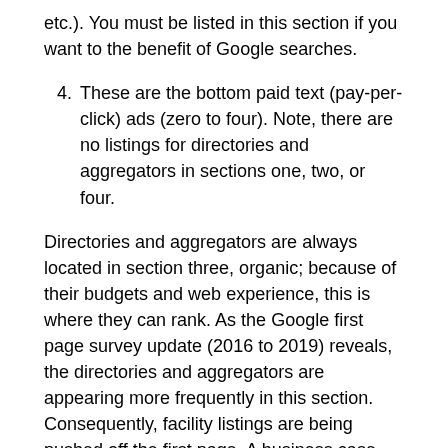etc.). You must be listed in this section if you want to the benefit of Google searches.
4. These are the bottom paid text (pay-per-click) ads (zero to four). Note, there are no listings for directories and aggregators in sections one, two, or four.
Directories and aggregators are always located in section three, organic; because of their budgets and web experience, this is where they can rank. As the Google first page survey update (2016 to 2019) reveals, the directories and aggregators are appearing more frequently in this section. Consequently, facility listings are being pushed off the first page. A business case may be advanced that, if you are a major operator (large budget) and are willing to accept discounts, this type of marketing is acceptable. There is a comparable here to the Yellow Pages placements: Big budget gets full, double-page ads. Whereas, a smaller facility